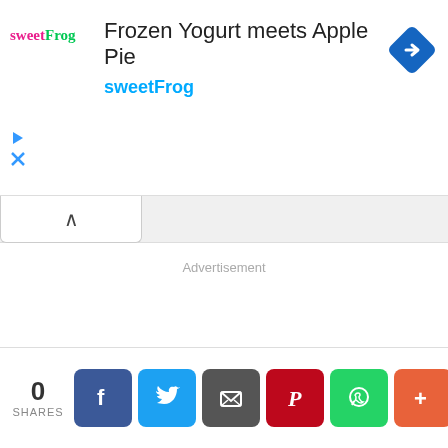[Figure (screenshot): Ad banner for sweetFrog frozen yogurt. Contains sweetFrog logo, title 'Frozen Yogurt meets Apple Pie', brand name 'sweetFrog' in blue, navigation diamond icon, play and close controls.]
Advertisement
0
SHARES
[Figure (infographic): Social share buttons: Facebook (blue), Twitter (light blue), Email (gray), Pinterest (red), WhatsApp (green), More (orange-red)]